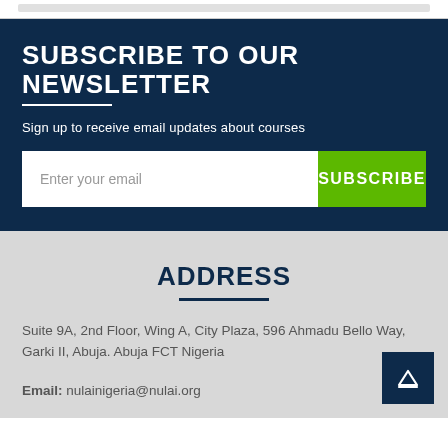SUBSCRIBE TO OUR NEWSLETTER
Sign up to receive email updates about courses
Enter your email
SUBSCRIBE
ADDRESS
Suite 9A, 2nd Floor, Wing A, City Plaza, 596 Ahmadu Bello Way, Garki II, Abuja. Abuja FCT Nigeria
Email: nulainigeria@nulai.org